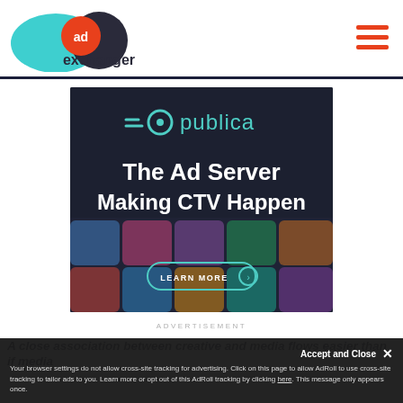[Figure (logo): AdExchanger logo — teal oval and dark circle overlapping with orange 'ad' circle, text 'exchanger' below]
[Figure (screenshot): Advertisement banner for Publica — dark background with colorful app icons blurred at bottom. Publica logo in teal at top, text 'The Ad Server Making CTV Happen' in white bold, 'LEARN MORE' button with teal border.]
ADVERTISEMENT
A close association between creative and media flows easier than if media
Your browser settings do not allow cross-site tracking for advertising. Click on this page to allow AdRoll to use cross-site tracking to tailor ads to you. Learn more or opt out of this AdRoll tracking by clicking here. This message only appears once.